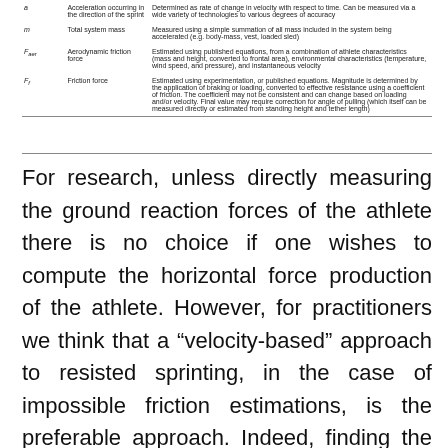| Symbol | Name | Description |
| --- | --- | --- |
| a | Acceleration occurring in the direction of the sprint | Determined as rate of change in velocity with respect to time. Can be measured via a wide variety of technologies to various degrees of accuracy |
| m | Total system mass | Measured using a simple summation of all mass included in the system being accelerated (e.g. body-mass, vest, loaded sled) |
| F_aer | Aerodynamic friction force | Estimated using published equations, from a combination of athlete characteristics (mass and height, converted to frontal area), environmental characteristics (temperature, wind speed, and pressure), and instantaneous velocity |
| F_f | Friction force | Estimated using experimentation, or published equations. Magnitude is determined by the application of braking or loading, converted to effective resistance using a coefficient of friction. The coefficient may not be consistent and can change based on loading and/or velocity. Final value may require correction for angle of pulling (which itself can be measured directly or estimated from standing height and tether length) |
For research, unless directly measuring the ground reaction forces of the athlete there is no choice if one wishes to compute the horizontal force production of the athlete. However, for practitioners we think that a “velocity-based” approach to resisted sprinting, in the case of impossible friction estimations, is the preferable approach. Indeed, finding the load that will induce a Vmax decrease of a targeted velocity (e.g. 20 or 50%) may be performed on any type of surface